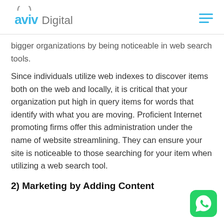aviv Digital
bigger organizations by being noticeable in web search tools.
Since individuals utilize web indexes to discover items both on the web and locally, it is critical that your organization put high in query items for words that identify with what you are moving. Proficient Internet promoting firms offer this administration under the name of website streamlining. They can ensure your site is noticeable to those searching for your item when utilizing a web search tool.
2) Marketing by Adding Content
[Figure (logo): WhatsApp icon button - green rounded square with white phone icon]